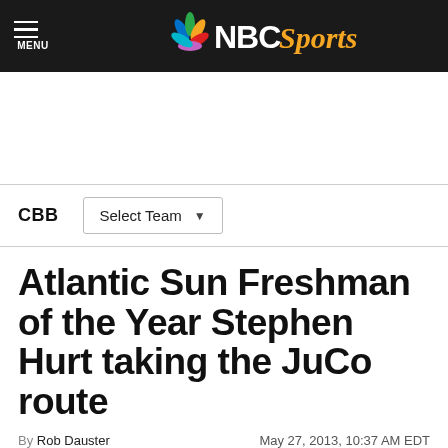NBC Sports
CBB  Select Team
Atlantic Sun Freshman of the Year Stephen Hurt taking the JuCo route
By Rob Dauster  May 27, 2013, 10:37 AM EDT